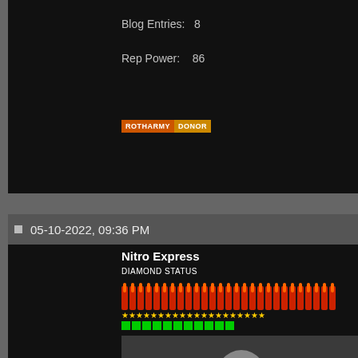Blog Entries: 8
Rep Power: 86
[Figure (other): ROTHARMY DONOR badge buttons]
05-10-2022, 09:36 PM
Nitro Express
DIAMOND STATUS
[Figure (illustration): Rank/reputation flame icons with stars]
[Figure (photo): User avatar photo of a man gesturing with hand raised]
Member No: 7682
Join Date: Aug 2004
Last Online: 08-18-2022 @ 10:11 PM
Location: Jackson Hole, Wyoming
Posts: 30,906
Anyways the T-72 is an obsolete these days. The US very well co Eastern Europe as a setup. It b